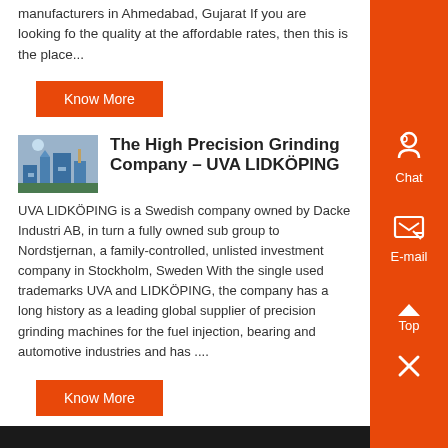manufacturers in Ahmedabad, Gujarat If you are looking for the quality at the affordable rates, then this is the place...
Know More
The High Precision Grinding Company – UVA LIDKÖPING
UVA LIDKÖPING is a Swedish company owned by Dacke Industri AB, in turn a fully owned sub group to Nordstjernan, a family-controlled, unlisted investment company in Stockholm, Sweden With the single used trademarks UVA and LIDKÖPING, the company has a long history as a leading global supplier of precision grinding machines for the fuel injection, bearing and automotive industries and has ....
Know More
Prev: cone making machine iron orecone manganese lifting min
Next: how long have they ben stamping gold